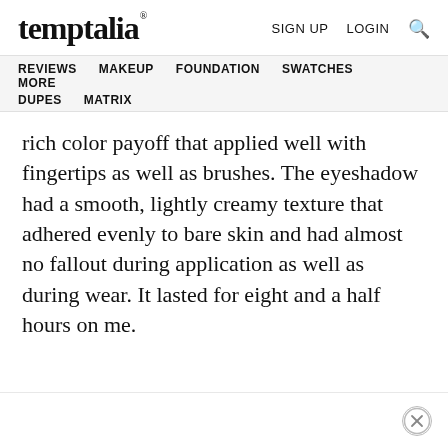temptalia® | SIGN UP  LOGIN 🔍
REVIEWS  MAKEUP  FOUNDATION  SWATCHES  MORE  DUPES  MATRIX
rich color payoff that applied well with fingertips as well as brushes. The eyeshadow had a smooth, lightly creamy texture that adhered evenly to bare skin and had almost no fallout during application as well as during wear. It lasted for eight and a half hours on me.